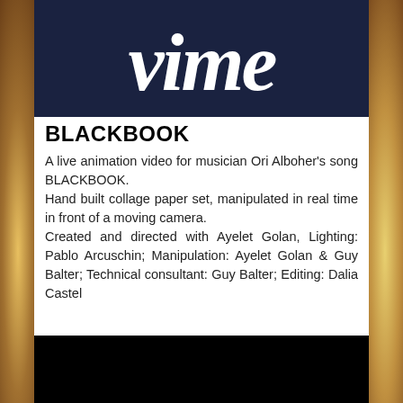[Figure (logo): Vimeo logo — white italic cursive text 'vime' (cropped) on dark navy blue background]
BLACKBOOK
A live animation video for musician Ori Alboher's song BLACKBOOK.
Hand built collage paper set, manipulated in real time in front of a moving camera.
Created and directed with Ayelet Golan, Lighting: Pablo Arcuschin; Manipulation: Ayelet Golan & Guy Balter; Technical consultant: Guy Balter; Editing: Dalia Castel
[Figure (photo): Black rectangular area at the bottom — video thumbnail or black screen]